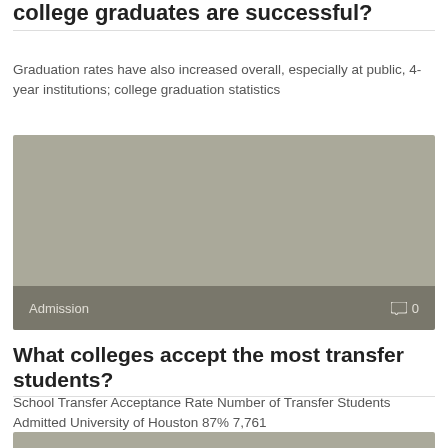college graduates are successful?
Graduation rates have also increased overall, especially at public, 4-year institutions; college graduation statistics
[Figure (photo): Gray placeholder image with 'Admission' tag overlay and comment count icon showing 0 at bottom]
What colleges accept the most transfer students?
School Transfer Acceptance Rate Number of Transfer Students Admitted University of Houston 87% 7,761
[Figure (photo): Gray placeholder image (partially visible at bottom of page)]